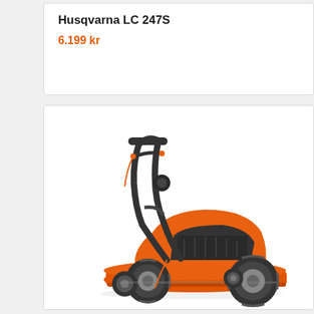Husqvarna LC 247S
6.199 kr
[Figure (photo): Husqvarna LC 247S battery-powered lawn mower. Orange and dark grey/black colour scheme. Push mower with two rear drive wheels and two smaller front wheels. Handlebar folds, battery compartment visible in orange body. White background.]